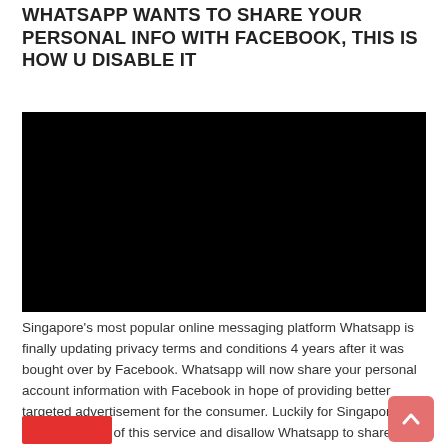WHATSAPP WANTS TO SHARE YOUR PERSONAL INFO WITH FACEBOOK, THIS IS HOW U DISABLE IT
[Figure (photo): Black rectangle placeholder image (video embed area)]
Singapore's most popular online messaging platform Whatsapp is finally updating privacy terms and conditions 4 years after it was bought over by Facebook. Whatsapp will now share your personal account information with Facebook in hope of providing better targeted advertisement for the consumer. Luckily for Singaporeans, we can opt out of this service and disallow Whatsapp to share your personal information with Facebook. Here's how: